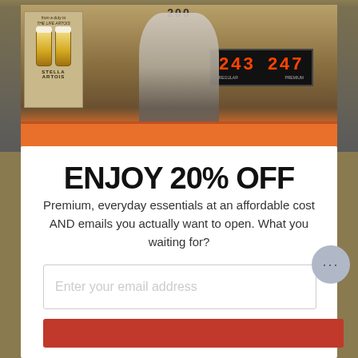[Figure (photo): A man in a white t-shirt and jeans leaning against an orange car outside a bar/shop. Behind him is a vintage Stella Artois beer poster on the left showing two beer glasses, and an LED price sign showing 243 and 247 on the right. The building has the number 200 above the entrance.]
ENJOY 20% OFF
Premium, everyday essentials at an affordable cost AND emails you actually want to open. What you waiting for?
Enter your email address